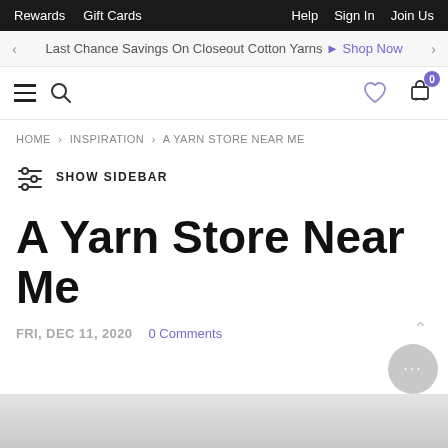Rewards  Gift Cards  Help  Sign In  Join Us
Last Chance Savings On Closeout Cotton Yarns ▶ Shop Now
[Figure (screenshot): Main navigation bar with hamburger menu, search icon, heart/wishlist icon, and shopping cart with 0 items badge]
HOME > INSPIRATION > A YARN STORE NEAR ME
SHOW SIDEBAR
A Yarn Store Near Me
FRI, DEC 11, 2020  0 Comments
[Figure (photo): Partial view of a light gray/white photo at the bottom of the page]